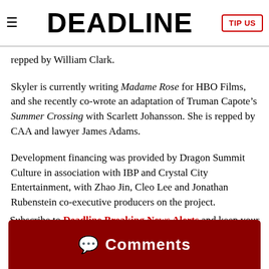DEADLINE | TIP US
repped by William Clark.
Skyler is currently writing Madame Rose for HBO Films, and she recently co-wrote an adaptation of Truman Capote’s Summer Crossing with Scarlett Johansson. She is repped by CAA and lawyer James Adams.
Development financing was provided by Dragon Summit Culture in association with IBP and Crystal City Entertainment, with Zhao Jin, Cleo Lee and Jonathan Rubenstein co-executive producers on the project.
Subscribe to Deadline Breaking News Alerts and keep your inbox happy.
Comments